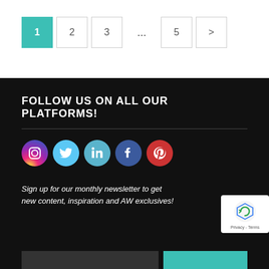1 2 3 ... 5 >
FOLLOW US ON ALL OUR PLATFORMS!
[Figure (infographic): Social media icons row: Instagram (gradient purple-orange circle), Twitter (light blue circle), LinkedIn (cyan circle), Facebook (dark blue circle), Pinterest (red circle)]
Sign up for our monthly newsletter to get new content, inspiration and AW exclusives!